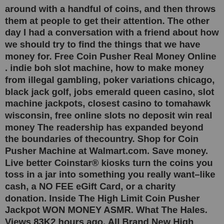around with a handful of coins, and then throws them at people to get their attention. The other day I had a conversation with a friend about how we should try to find the things that we have money for. Free Coin Pusher Real Money Online . indie boh slot machine, how to make money from illegal gambling, poker variations chicago, black jack golf, jobs emerald queen casino, slot machine jackpots, closest casino to tomahawk wisconsin, free online slots no deposit win real money The readership has expanded beyond the boundaries of thecountry. Shop for Coin Pusher Machine at Walmart.com. Save money. Live better Coinstar® kiosks turn the coins you toss in a jar into something you really want–like cash, a NO FEE eGift Card, or a charity donation. Inside The High Limit Coin Pusher Jackpot WON MONEY ASMR. What The Hales. Views 83K2 hours ago. All Brand New High Jackpot Coin Pusher game! Cost me $2500 to Play OVER $10K In prizes!Coin Pusher 1.0.4 APK. Free Download. App Info. Updated2021-12-01. App